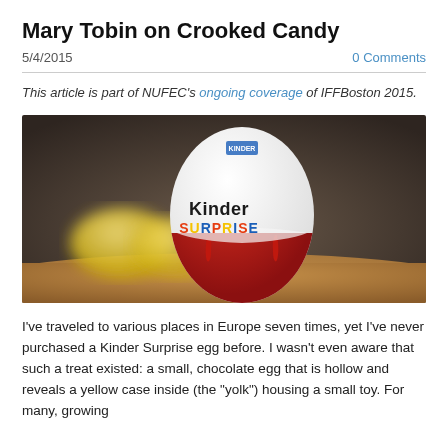Mary Tobin on Crooked Candy
5/4/2015
0 Comments
This article is part of NUFEC's ongoing coverage of IFFBoston 2015.
[Figure (photo): A Kinder Surprise chocolate egg with its white and red foil wrapper showing the Kinder Surprise logo, with a yellow plastic capsule in the blurred background, placed on a wooden surface.]
I've traveled to various places in Europe seven times, yet I've never purchased a Kinder Surprise egg before. I wasn't even aware that such a treat existed: a small, chocolate egg that is hollow and reveals a yellow case inside (the "yolk") housing a small toy. For many, growing